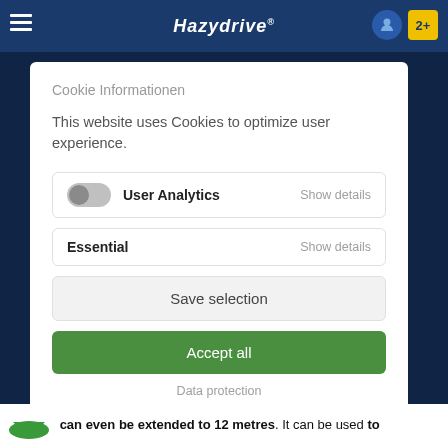[Figure (screenshot): Website header bar with blue background, hamburger menu icons on left, stylized logo text in center, and icons including a yellow cart badge on right]
Cookie Informationen
This website uses Cookies to optimize user experience.
User Analytics  Show details
Essential  Show details
Save selection
Accept all
Data protection
can even be extended to 12 metres. It can be used to